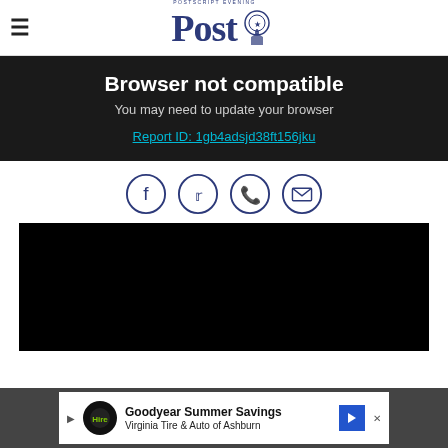≡  Postscript Evening Post
Browser not compatible
You may need to update your browser
Report ID: 1gb4adsjd38ft156jku
[Figure (infographic): Social sharing icons: Facebook, Twitter, WhatsApp, Email — all in dark navy circle outlines]
[Figure (screenshot): Black video player area]
[Figure (infographic): Advertisement banner for Goodyear Summer Savings - Virginia Tire & Auto of Ashburn]